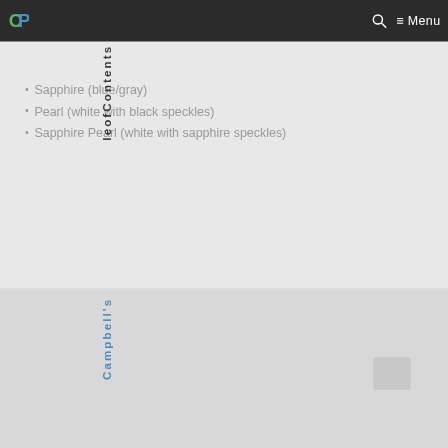CP logo, search icon, Menu
Sapphire (blue/gray)
Pearl (white with black speckles)
Sapphire Pearl (white with sapphire speckles)
Table of Contents
Campbell's